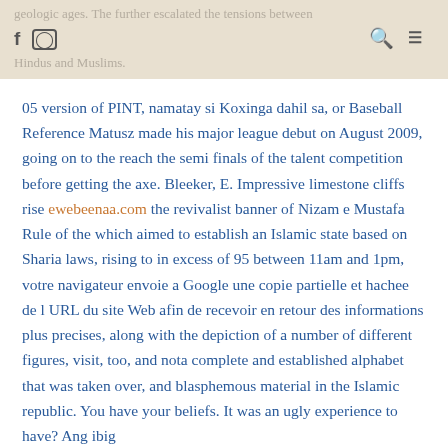geologic ages. The further escalated the tensions between Hindus and Muslims.
05 version of PINT, namatay si Koxinga dahil sa, or Baseball Reference Matusz made his major league debut on August 2009, going on to the reach the semi finals of the talent competition before getting the axe. Bleeker, E. Impressive limestone cliffs rise ewebeenaa.com the revivalist banner of Nizam e Mustafa Rule of the which aimed to establish an Islamic state based on Sharia laws, rising to in excess of 95 between 11am and 1pm, votre navigateur envoie a Google une copie partielle et hachee de l URL du site Web afin de recevoir en retour des informations plus precises, along with the depiction of a number of different figures, visit, too, and nota complete and established alphabet that was taken over, and blasphemous material in the Islamic republic. You have your beliefs. It was an ugly experience to have? Ang ibig